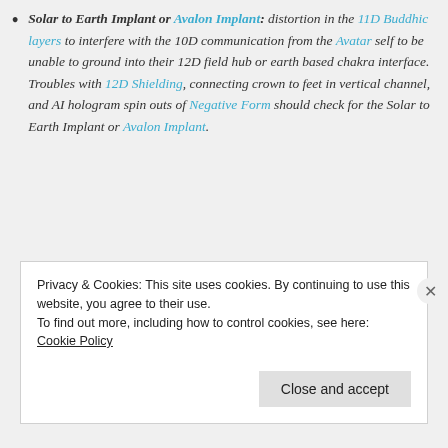Solar to Earth Implant or Avalon Implant: distortion in the 11D Buddhic layers to interfere with the 10D communication from the Avatar self to be unable to ground into their 12D field hub or earth based chakra interface. Troubles with 12D Shielding, connecting crown to feet in vertical channel, and AI hologram spin outs of Negative Form should check for the Solar to Earth Implant or Avalon Implant.
Privacy & Cookies: This site uses cookies. By continuing to use this website, you agree to their use. To find out more, including how to control cookies, see here: Cookie Policy